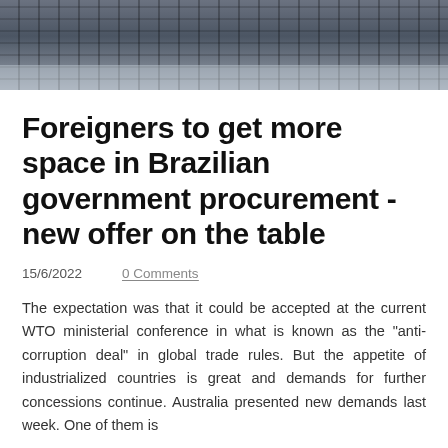[Figure (photo): Dark photograph of a laptop keyboard from above, used as a decorative page header image.]
Foreigners to get more space in Brazilian government procurement - new offer on the table
15/6/2022    0 Comments
The expectation was that it could be accepted at the current WTO ministerial conference in what is known as the "anti-corruption deal" in global trade rules. But the appetite of industrialized countries is great and demands for further concessions continue. Australia presented new demands last week. One of them is